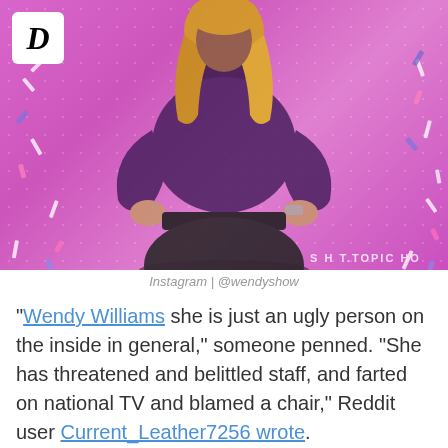[Figure (photo): Woman in purple turtleneck top and black patterned skirt, hands on hips, posing on a pink/purple stage background with confetti. A white logo box with italic 'D' is in top-left corner. Watermark reads 'S H T.TOPIC HO' at bottom right of image.]
Instagram | @wendyshow
"Wendy Williams she is just an ugly person on the inside in general," someone penned. "She has threatened and belittled staff, and farted on national TV and blamed a chair," Reddit user Current_Leather7256 wrote.